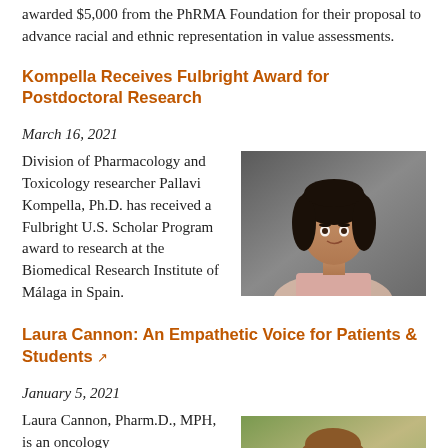awarded $5,000 from the PhRMA Foundation for their proposal to advance racial and ethnic representation in value assessments.
Kompella Receives Fulbright Award for Postdoctoral Research
March 16, 2021
[Figure (photo): Portrait photo of Pallavi Kompella, Ph.D., a woman with long dark hair wearing a light pink top, photographed against a dark grey background.]
Division of Pharmacology and Toxicology researcher Pallavi Kompella, Ph.D. has received a Fulbright U.S. Scholar Program award to research at the Biomedical Research Institute of Málaga in Spain.
Laura Cannon: An Empathetic Voice for Patients & Students
January 5, 2021
[Figure (photo): Portrait photo of Laura Cannon, Pharm.D., MPH, a woman with long brown hair wearing a white lab coat, photographed outdoors with green trees in the background.]
Laura Cannon, Pharm.D., MPH, is an oncology